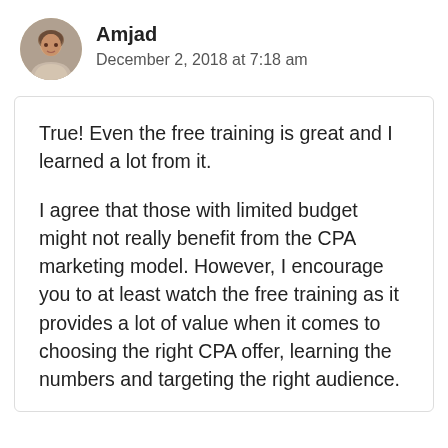[Figure (photo): Circular avatar photo of a man named Amjad]
Amjad
December 2, 2018 at 7:18 am
True! Even the free training is great and I learned a lot from it.

I agree that those with limited budget might not really benefit from the CPA marketing model. However, I encourage you to at least watch the free training as it provides a lot of value when it comes to choosing the right CPA offer, learning the numbers and targeting the right audience.